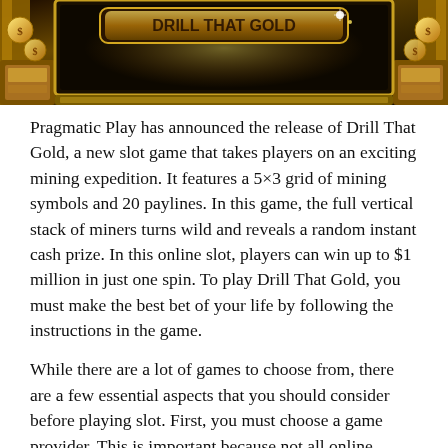[Figure (screenshot): Screenshot of a colorful casino slot game 'Drill That Gold' by Pragmatic Play, showing a golden mining-themed game interface with coins and decorative elements.]
Pragmatic Play has announced the release of Drill That Gold, a new slot game that takes players on an exciting mining expedition. It features a 5×3 grid of mining symbols and 20 paylines. In this game, the full vertical stack of miners turns wild and reveals a random instant cash prize. In this online slot, players can win up to $1 million in just one spin. To play Drill That Gold, you must make the best bet of your life by following the instructions in the game.
While there are a lot of games to choose from, there are a few essential aspects that you should consider before playing slot. First, you must choose a game provider. This is important because not all online casinos accept all of the game providers. Some of the most popular software providers are known for providing a variety of games. This is particularly true for online casinos. Slot machines are typically free to play, so you can practice playing them